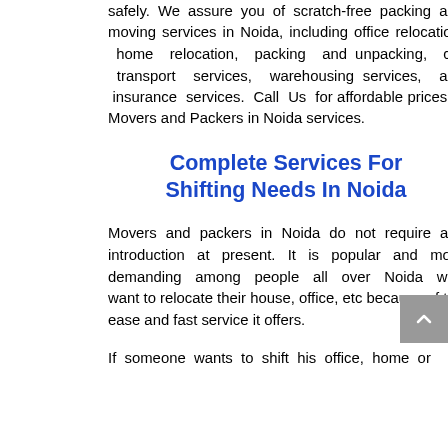safely. We assure you of scratch-free packing and moving services in Noida, including office relocation, home relocation, packing and unpacking, car transport services, warehousing services, and insurance services. Call Us for affordable prices of Movers and Packers in Noida services.
Complete Services For Shifting Needs In Noida
Movers and packers in Noida do not require any introduction at present. It is popular and more demanding among people all over Noida who want to relocate their house, office, etc because of the ease and fast service it offers.
If someone wants to shift his office, home or